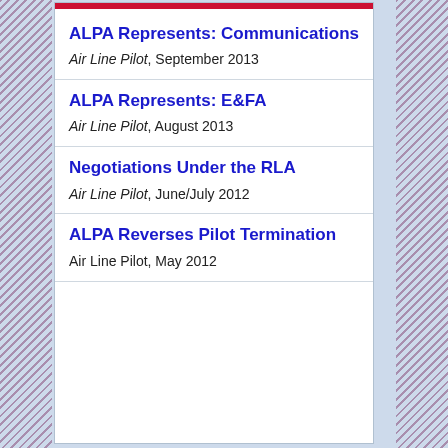ALPA Represents: Communications — Air Line Pilot, September 2013
ALPA Represents: E&FA — Air Line Pilot, August 2013
Negotiations Under the RLA — Air Line Pilot, June/July 2012
ALPA Reverses Pilot Termination — Air Line Pilot, May 2012